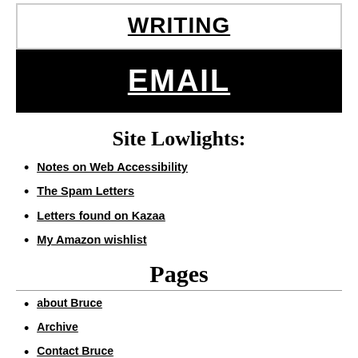WRITING
EMAIL
Site Lowlights:
Notes on Web Accessibility
The Spam Letters
Letters found on Kazaa
My Amazon wishlist
Pages
about Bruce
Archive
Contact Bruce
HTML5 WordPress theme